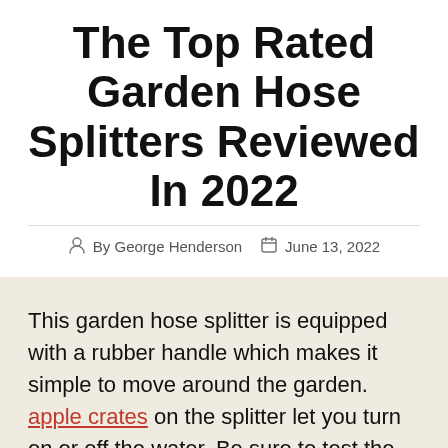The Top Rated Garden Hose Splitters Reviewed In 2022
By George Henderson   June 13, 2022
This garden hose splitter is equipped with a rubber handle which makes it simple to move around the garden. apple crates on the splitter let you turn on or off the water. Be sure to test the pressure of the tap water before purchasing a splitter. This will ensure that the pressure is enough for the hoses to operate. Otherwise, you may discover that the flow of water is quite low.